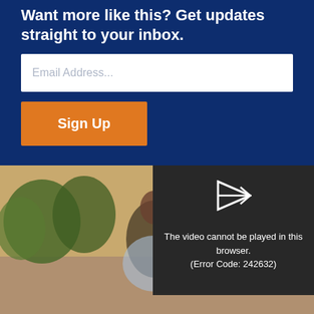Want more like this? Get updates straight to your inbox.
[Figure (screenshot): Email address input field with placeholder text 'Email Address...' on white background]
[Figure (screenshot): Orange Sign Up button]
[Figure (photo): Outdoor photo of a person with trees and warm light in the background]
[Figure (screenshot): Video player error overlay showing play icon and error message: 'The video cannot be played in this browser. (Error Code: 242632)']